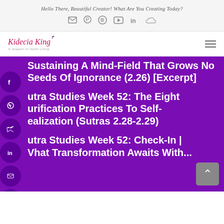Hello There, Beautiful Creator! What Are You Creating Today?
[Figure (logo): Kidecia King logo with subtitle 'In Support of Joyful Living' and social media icons (email, Pinterest, Spotify, YouTube, LinkedIn, SoundCloud) in top navigation area]
Sustaining A Mind-Field That Grows No Seeds Of Ignorance (2.26) [Excerpt]
Sutra Studies Week 52: The Eight Purification Practices To Self-Realization (Sutras 2.28-2.29)
Sutra Studies Week 52: Check-In | What Transformation Awaits With...